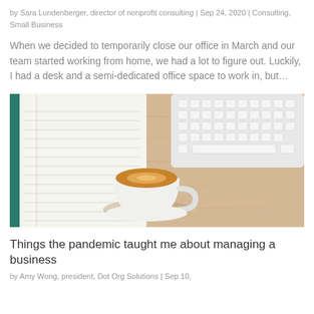by Sara Lundenberger, director of nonprofit consulting | Sep 24, 2020 | Consulting, Small Business
When we decided to temporarily close our office in March and our team started working from home, we had a lot to figure out. Luckily, I had a desk and a semi-dedicated office space to work in, but…
[Figure (photo): Top-down view of a wooden desk with an open notebook on the left, a white keyboard in the upper right, and a mug of coffee with latte art in the center.]
Things the pandemic taught me about managing a business
by Amy Wong, president, Dot Org Solutions | Sep 10,